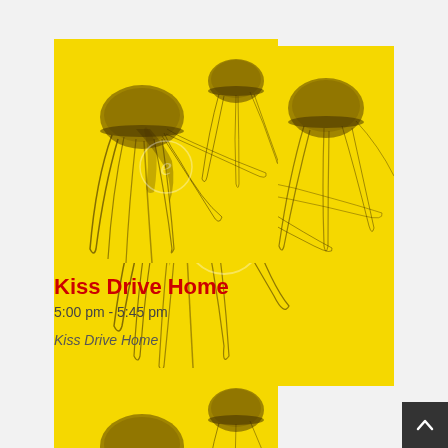[Figure (photo): Yellow-tinted jellyfish image used as show artwork for Kiss Drive Home]
Kiss Drive Home
5:00 pm - 5:45 pm
Kiss Drive Home
[Figure (photo): Yellow-tinted jellyfish image (second instance), partially visible at bottom of page]